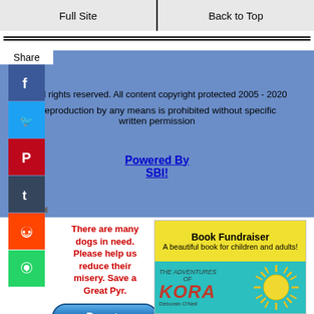Full Site | Back to Top
© All rights reserved. All content copyright protected 2005 - 2020
Reproduction by any means is prohibited without specific written permission
Powered By
SBI!
There are many dogs in need. Please help us reduce their misery. Save a Great Pyr.
[Figure (illustration): Donate button - blue rounded pill button]
[Figure (illustration): Book Fundraiser - A beautiful book for children and adults! The Adventures of KORA book cover with sun illustration]